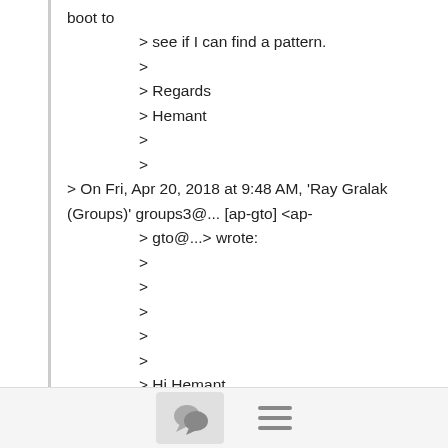boot to
> see if I can find a pattern.
>
> Regards
> Hemant
>
>
> On Fri, Apr 20, 2018 at 9:48 AM, 'Ray Gralak (Groups)' groups3@... [ap-gto] <ap-
> gto@...> wrote:
>
>
>
>
>
> Hi Hemant,
>
> When you have seen this, did you notice if the virtual ports did not get allocated?
[Figure (other): Footer bar with a chat bubble icon button and a hamburger menu icon]